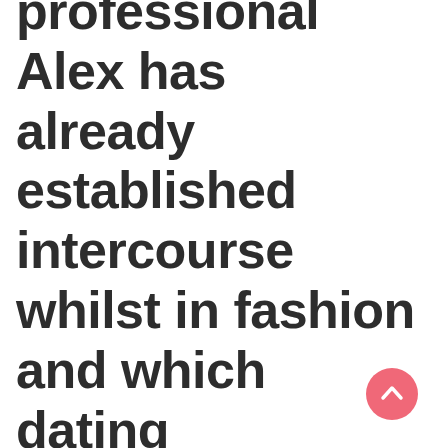professional Alex has already established intercourse whilst in fashion and which dating opportunity, early gear like a hardon will result
[Figure (other): Pink/salmon circular button with upward arrow icon (scroll-to-top button)]